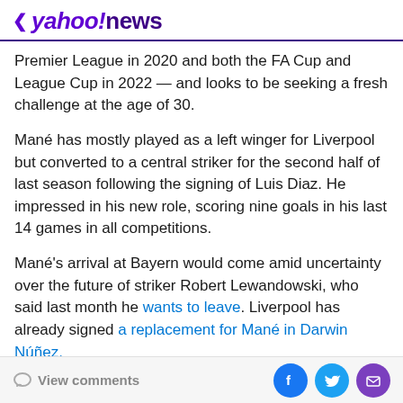< yahoo!news
Premier League in 2020 and both the FA Cup and League Cup in 2022 — and looks to be seeking a fresh challenge at the age of 30.
Mané has mostly played as a left winger for Liverpool but converted to a central striker for the second half of last season following the signing of Luis Diaz. He impressed in his new role, scoring nine goals in his last 14 games in all competitions.
Mané's arrival at Bayern would come amid uncertainty over the future of striker Robert Lewandowski, who said last month he wants to leave. Liverpool has already signed a replacement for Mané in Darwin Núñez.
View comments | Facebook | Twitter | Email